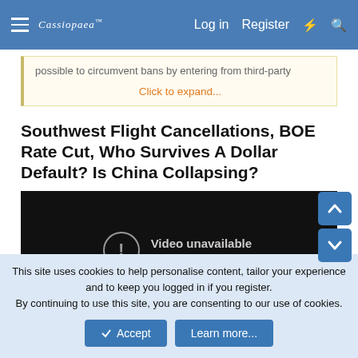Cassiopaea | Log in | Register
possible to circumvent bans by entering from third-party
Click to expand...
Southwest Flight Cancellations, BOE Rate Cut, Who Survives A Dollar Default? Is China Collapsing?
[Figure (screenshot): Embedded video player showing 'Video unavailable. This video is unavailable.' message on dark background.]
This site uses cookies to help personalise content, tailor your experience and to keep you logged in if you register.
By continuing to use this site, you are consenting to our use of cookies.